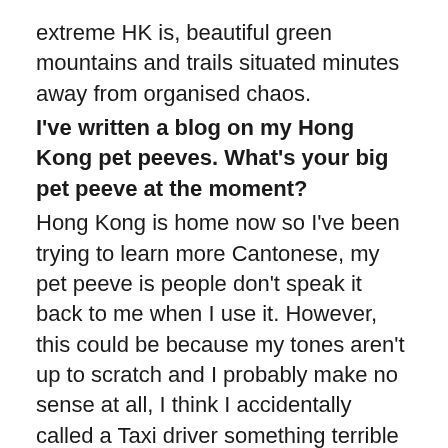extreme HK is, beautiful green mountains and trails situated minutes away from organised chaos.
I've written a blog on my Hong Kong pet peeves. What's your big pet peeve at the moment?
Hong Kong is home now so I've been trying to learn more Cantonese, my pet peeve is people don't speak it back to me when I use it. However, this could be because my tones aren't up to scratch and I probably make no sense at all, I think I accidentally called a Taxi driver something terrible the other day, I was only trying to comment on the weather!
What's next? Any exciting plans in the near future?
Last year I set an official Guinness world record by visiting EVERY MTR station in the quickest possible time, we set the record at 8 hours 18 mins and raised $98,000 for RTHK Radio 3's annual charity campaign Operation Santa